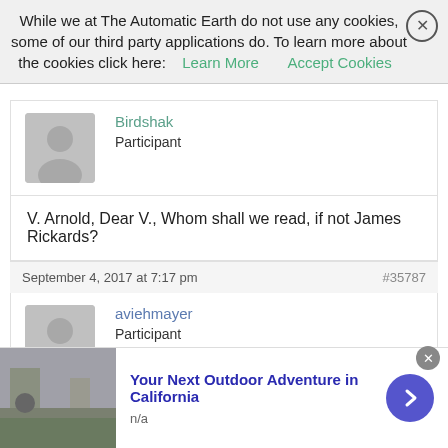While we at The Automatic Earth do not use any cookies, some of our third party applications do. To learn more about the cookies click here: Learn More   Accept Cookies
Birdshak
Participant
V. Arnold, Dear V., Whom shall we read, if not James Rickards?
September 4, 2017 at 7:17 pm   #35787
aviehmayer
Participant
Renegade Inc forgets the simplest thing of all: Marx was wrong in
[Figure (infographic): Advertisement: Your Next Outdoor Adventure in California, n/a, with a purple arrow button and outdoor photo]
Your Next Outdoor Adventure in California
n/a